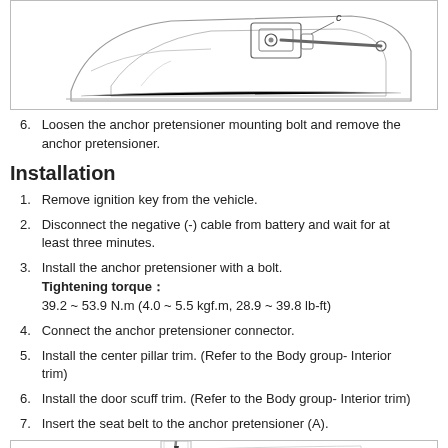[Figure (illustration): Technical illustration of anchor pretensioner mounting area with label C pointing to a component]
6. Loosen the anchor pretensioner mounting bolt and remove the anchor pretensioner.
Installation
1. Remove ignition key from the vehicle.
2. Disconnect the negative (-) cable from battery and wait for at least three minutes.
3. Install the anchor pretensioner with a bolt. Tightening torque : 39.2 ~ 53.9 N.m (4.0 ~ 5.5 kgf.m, 28.9 ~ 39.8 lb-ft)
4. Connect the anchor pretensioner connector.
5. Install the center pillar trim. (Refer to the Body group- Interior trim)
6. Install the door scuff trim. (Refer to the Body group- Interior trim)
7. Insert the seat belt to the anchor pretensioner (A).
[Figure (illustration): Technical illustration showing seat belt insertion into anchor pretensioner (A)]